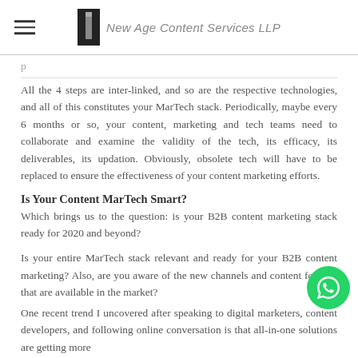New Age Content Services LLP
All the 4 steps are inter-linked, and so are the respective technologies, and all of this constitutes your MarTech stack. Periodically, maybe every 6 months or so, your content, marketing and tech teams need to collaborate and examine the validity of the tech, its efficacy, its deliverables, its updation. Obviously, obsolete tech will have to be replaced to ensure the effectiveness of your content marketing efforts.
Is Your Content MarTech Smart?
Which brings us to the question: is your B2B content marketing stack ready for 2020 and beyond?
Is your entire MarTech stack relevant and ready for your B2B content marketing? Also, are you aware of the new channels and content formats that are available in the market?
One recent trend I uncovered after speaking to digital marketers, content developers, and following online conversation is that all-in-one solutions are getting more